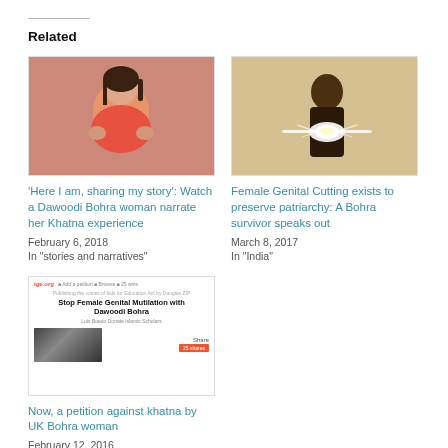Related
[Figure (photo): Young woman in pink/orange top, speaking or narrating, indoor setting with pink wall]
'Here I am, sharing my story': Watch a Dawoodi Bohra woman narrate her Khatna experience
February 6, 2018
In “stories and narratives”
[Figure (photo): Person holding a bright glowing object or light, warm toned background]
Female Genital Cutting exists to preserve patriarchy: A Bohra survivor speaks out
March 8, 2017
In “India”
[Figure (screenshot): Screenshot of ige.org webpage with title 'Stop Female Genital Mutilation with Dawoodi Bohra']
Now, a petition against khatna by UK Bohra woman
February 12, 2016
In “News”